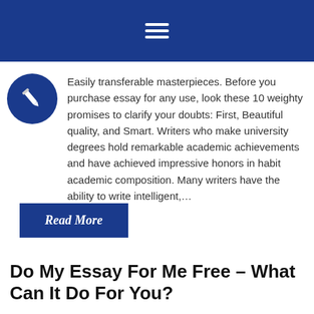CRI TIPS
Easily transferable masterpieces. Before you purchase essay for any use, look these 10 weighty promises to clarify your doubts: First, Beautiful quality, and Smart. Writers who make university degrees hold remarkable academic achievements and have achieved impressive honors in habit academic composition. Many writers have the ability to write intelligent,...
Read More
Do My Essay For Me Free – What Can It Do For You?